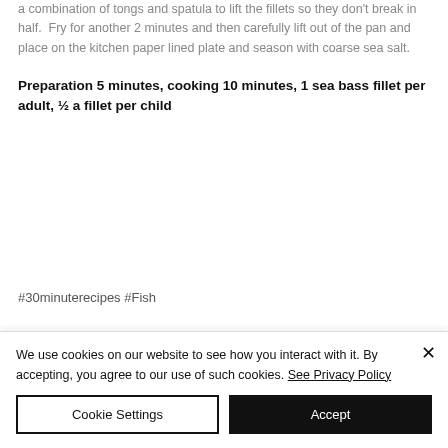a combination of tongs and spatula to lift the fillets so they don't break in half. Fry for another 2 minutes and then carefully lift out of the pan and place on the kitchen paper lined plate and season with coarse sea salt.
Preparation 5 minutes, cooking 10 minutes, 1 sea bass fillet per adult, ½ a fillet per child
#30minuterecipes #Fish
We use cookies on our website to see how you interact with it. By accepting, you agree to our use of such cookies. See Privacy Policy
Cookie Settings
Accept